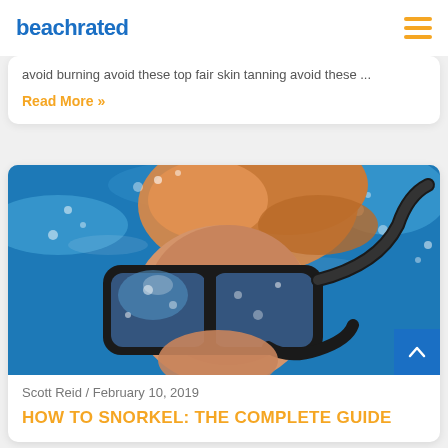beachrated
avoid burning avoid these top fair skin tanning avoid these ...
Read More »
[Figure (photo): Person underwater wearing a black snorkel mask and snorkel tube, with blue water and bubbles in background, red/blonde hair floating]
Scott Reid / February 10, 2019
HOW TO SNORKEL: THE COMPLETE GUIDE